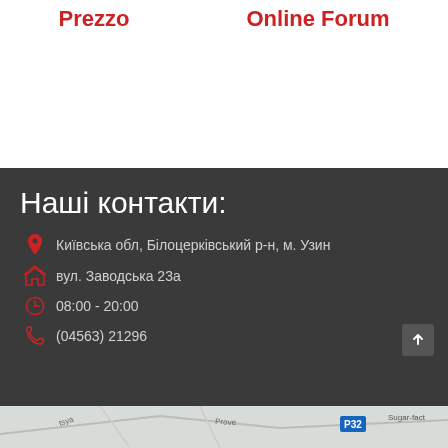Prezzo
Online Forum
Наші контакти:
Київська обл, Білоцерківський р-н, м. Узин
вул. Заводська 23а
08:00 - 20:00
(04563) 21296
[Figure (map): Street map showing location area with road labels and P32 marker]